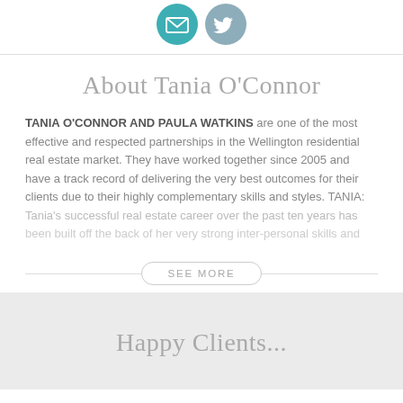[Figure (illustration): Two circular social media/contact icons: a teal envelope/email icon and a gray Twitter bird icon]
About Tania O'Connor
TANIA O'CONNOR AND PAULA WATKINS are one of the most effective and respected partnerships in the Wellington residential real estate market. They have worked together since 2005 and have a track record of delivering the very best outcomes for their clients due to their highly complementary skills and styles. TANIA: Tania's successful real estate career over the past ten years has been built off the back of her very strong inter-personal skills and
SEE MORE
Happy Clients...